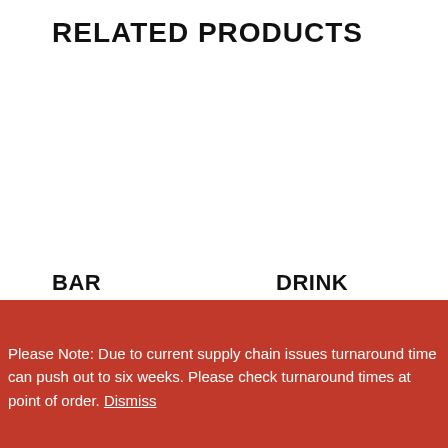RELATED PRODUCTS
BAR RUNNERS
$16.95 – $29.95 ex. GST
DRINK COASTERS
$415.00 – $1,745.00 ex. GST
Please Note: Due to current supply chain issues turnaround time can push out to six weeks. Please check turnaround times at point of order. Dismiss